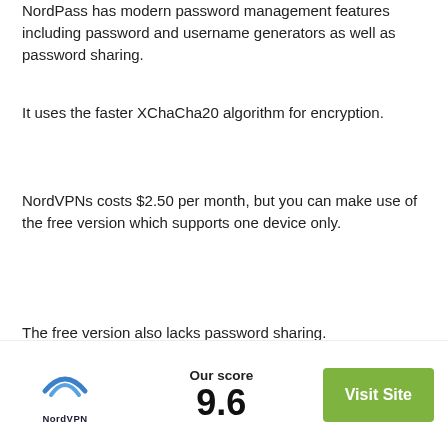NordPass has modern password management features including password and username generators as well as password sharing.
It uses the faster XChaCha20 algorithm for encryption.
NordVPNs costs $2.50 per month, but you can make use of the free version which supports one device only.
The free version also lacks password sharing.
What is NordLocker?
[Figure (logo): NordVPN logo with blue arch and NordVPN text below, Our score label with 9.6, and green Visit Site button]